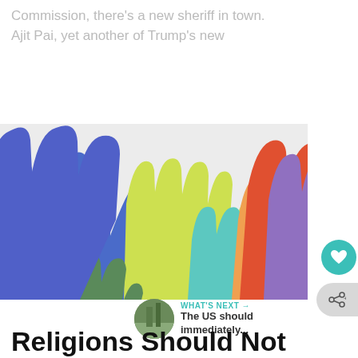Commission, there's a new sheriff in town. Ajit Pai, yet another of Trump's new
[Figure (illustration): Colorful raised hands silhouettes in rainbow colors (blue, yellow-green, yellow, teal, orange, red-orange, red, pink, green, purple, dark green) on a light gray background]
WHAT'S NEXT → The US should immediately...
Religions Should Not